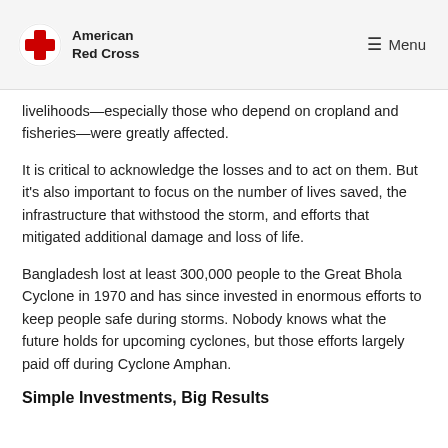American Red Cross | Menu
livelihoods—especially those who depend on cropland and fisheries—were greatly affected.
It is critical to acknowledge the losses and to act on them. But it's also important to focus on the number of lives saved, the infrastructure that withstood the storm, and efforts that mitigated additional damage and loss of life.
Bangladesh lost at least 300,000 people to the Great Bhola Cyclone in 1970 and has since invested in enormous efforts to keep people safe during storms. Nobody knows what the future holds for upcoming cyclones, but those efforts largely paid off during Cyclone Amphan.
Simple Investments, Big Results